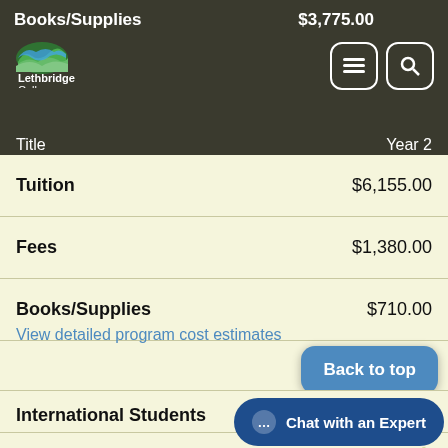Books/Supplies  $3,775.00
Lethbridge College
Title  Year 2
| Item | Cost |
| --- | --- |
| Tuition | $6,155.00 |
| Fees | $1,380.00 |
| Books/Supplies | $710.00 |
View detailed program cost estimates
Back to top
International Students
Notes
Chat with an Expert